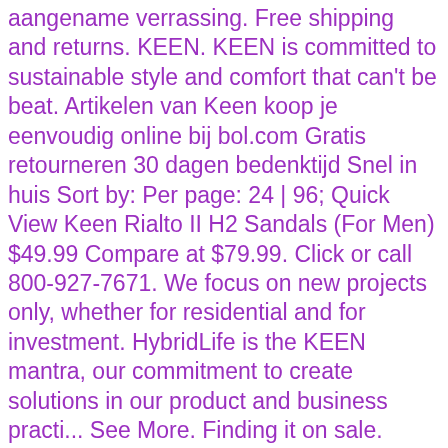aangename verrassing. Free shipping and returns. KEEN. KEEN is committed to sustainable style and comfort that can't be beat. Artikelen van Keen koop je eenvoudig online bij bol.com Gratis retourneren 30 dagen bedenktijd Snel in huis Sort by: Per page: 24 | 96; Quick View Keen Rialto II H2 Sandals (For Men) $49.99 Compare at $79.99. Click or call 800-927-7671. We focus on new projects only, whether for residential and for investment. HybridLife is the KEEN mantra, our commitment to create solutions in our product and business practi... See More. Finding it on sale. Keen Sandals Outlet Store - Official Site! Ontdek de Sandalen voor dames collectie vandaag nog. Fast delivery, and 24/7/365 real-person service with a smile. ABOUT KEEN THAILAND. Sichere Dir die aktuellen Angebote und Rabatte im offiziellen KEEN-Onlineshop, denn es gibt nichts Besseres, als die Lieblingsschuhe von KEEN im SALE zu finden! Our selection includes affordable studios, apartments, large lofts and luxury penthouses.. From Nai Yang Beach on the West coast to Rawai in South of Phuket Island, find the right condo for you. KEEN is committed to sustainable style and comfort that can't be beat. Wat is leuk: comfortabele pasvorm, veel grip